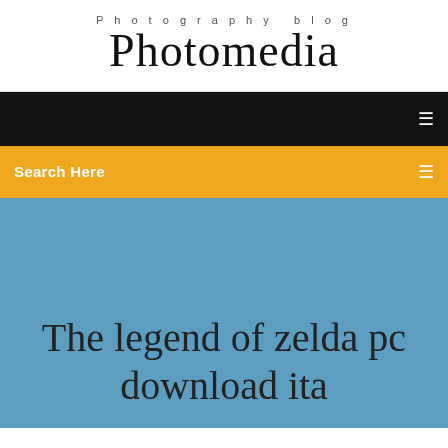Photography blog
Photomedia
Search Here
The legend of zelda pc download ita